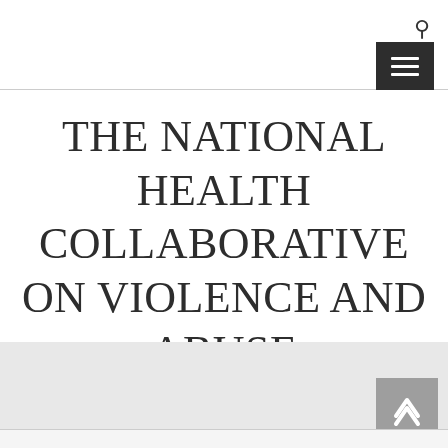THE NATIONAL HEALTH COLLABORATIVE ON VIOLENCE AND ABUSE